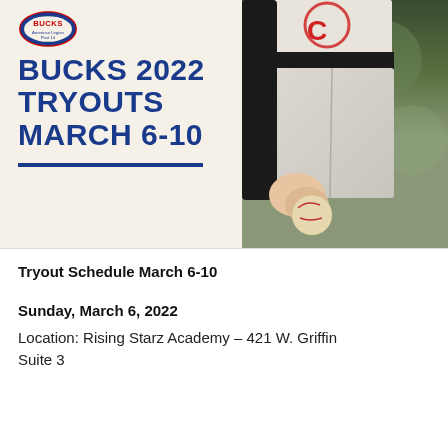[Figure (illustration): Baseball tryouts promotional poster showing 'BUCKS 2022 TRYOUTS MARCH 6-10' text on a cream/beige background on the left side with a logo at top, and a photo of a baseball player holding a baseball on the right side. A blue underline appears beneath the text.]
Tryout Schedule March 6-10
Sunday, March 6, 2022
Location: Rising Starz Academy – 421 W. Griffin Suite 3